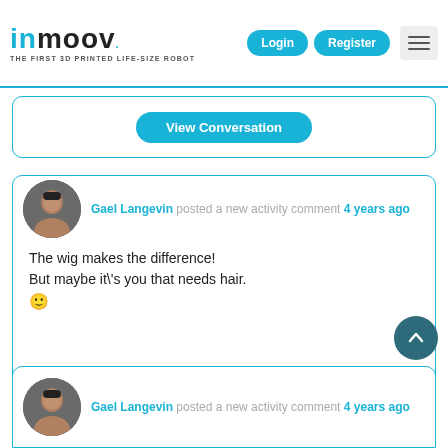InMoov – The first 3D printed life-size robot | Login | Register
View Conversation
Gael Langevin posted a new activity comment 4 years ago
The wig makes the difference! But maybe it\'s you that needs hair. 🙂
View Conversation
Gael Langevin posted a new activity comment 4 years ago